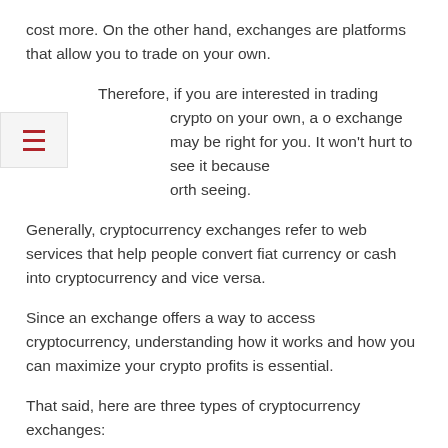cost more. On the other hand, exchanges are platforms that allow you to trade on your own.
Therefore, if you are interested in trading crypto on your own, a crypto exchange may be right for you. It won't hurt to see it because it's worth seeing.
Generally, cryptocurrency exchanges refer to web services that help people convert fiat currency or cash into cryptocurrency and vice versa.
Since an exchange offers a way to access cryptocurrency, understanding how it works and how you can maximize your crypto profits is essential.
That said, here are three types of cryptocurrency exchanges:
1. Centralized Crypto Exchanges